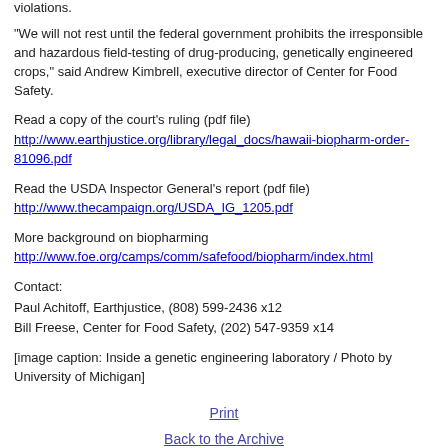violations.
"We will not rest until the federal government prohibits the irresponsible and hazardous field-testing of drug-producing, genetically engineered crops," said Andrew Kimbrell, executive director of Center for Food Safety.
Read a copy of the court's ruling (pdf file)
http://www.earthjustice.org/library/legal_docs/hawaii-biopharm-order-81096.pdf
Read the USDA Inspector General's report (pdf file)
http://www.thecampaign.org/USDA_IG_1205.pdf
More background on biopharming
http://www.foe.org/camps/comm/safefood/biopharm/index.html
Contact:
Paul Achitoff, Earthjustice, (808) 599-2436 x12
Bill Freese, Center for Food Safety, (202) 547-9359 x14
[image caption: Inside a genetic engineering laboratory / Photo by University of Michigan]
Print
Back to the Archive